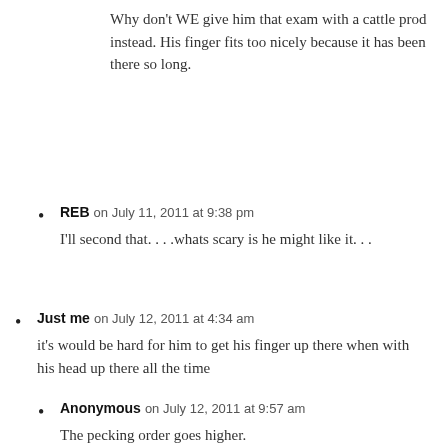Why don't WE give him that exam with a cattle prod instead. His finger fits too nicely because it has been there so long.
REB on July 11, 2011 at 9:38 pm
I'll second that. . . .whats scary is he might like it. . .
Just me on July 12, 2011 at 4:34 am
it's would be hard for him to get his finger up there when with his head up there all the time
Anonymous on July 12, 2011 at 9:57 am
The pecking order goes higher.